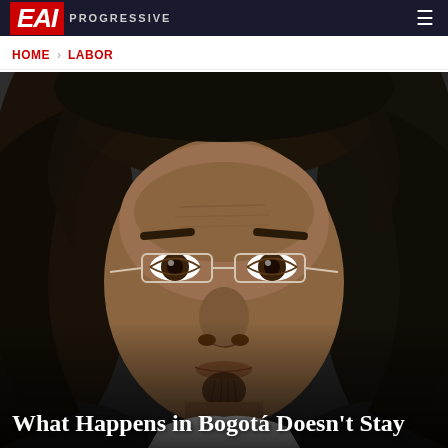EAI PROGRESSIVE
HOME > LABOR
[Figure (photo): Close-up portrait of a man with long dark hair wearing thin-framed glasses and a black top with white collar. He has a serious expression with furrowed brows. The background is dark/blurred.]
What Happens in Bogotá Doesn't Stay